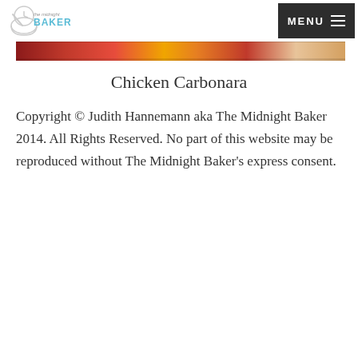The Midnight Baker — MENU
[Figure (photo): Cropped food photo strip showing colorful dish — Chicken Carbonara]
Chicken Carbonara
Copyright © Judith Hannemann aka The Midnight Baker 2014. All Rights Reserved. No part of this website may be reproduced without The Midnight Baker's express consent.